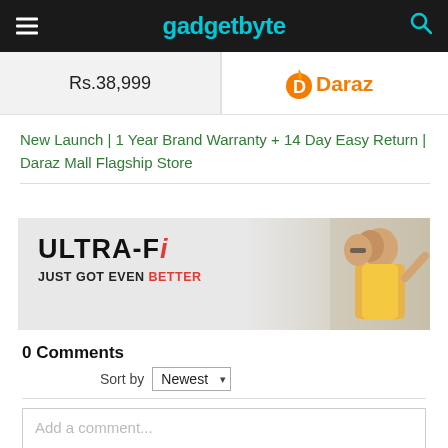gadgetbyte
Rs.38,999
[Figure (logo): Daraz logo with orange icon and orange text]
New Launch | 1 Year Brand Warranty + 14 Day Easy Return | Daraz Mall Flagship Store
[Figure (infographic): ULTRA-Fi JUST GOT EVEN BETTER banner advertisement with two people]
0 Comments
Sort by Newest
Add a comment...
Facebook Comments Plugin